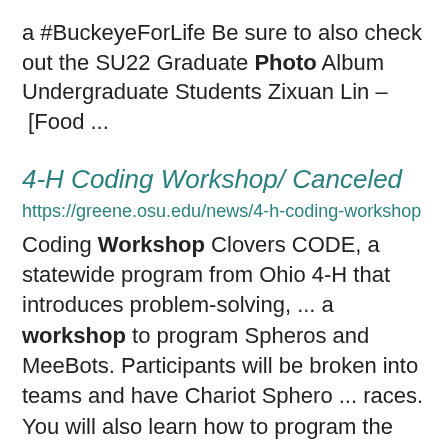a #BuckeyeForLife Be sure to also check out the SU22 Graduate Photo Album Undergraduate Students Zixuan Lin – [Food ...
4-H Coding Workshop/ Canceled
https://greene.osu.edu/news/4-h-coding-workshop
Coding Workshop Clovers CODE, a statewide program from Ohio 4-H that introduces problem-solving, ... a workshop to program Spheros and MeeBots. Participants will be broken into teams and have Chariot Sphero ... races. You will also learn how to program the MeeBots to have